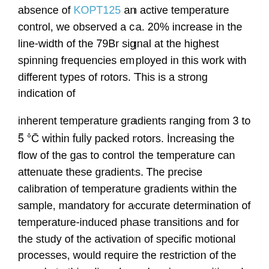absence of KOPT125 an active temperature control, we observed a ca. 20% increase in the line-width of the 79Br signal at the highest spinning frequencies employed in this work with different types of rotors. This is a strong indication of
inherent temperature gradients ranging from 3 to 5 °C within fully packed rotors. Increasing the flow of the gas to control the temperature can attenuate these gradients. The precise calibration of temperature gradients within the sample, mandatory for accurate determination of temperature-induced phase transitions and for the study of the activation of specific motional processes, would require the restriction of the sample to thin, disc-shaped regions, positioned at the center of the rotor and at its bottom and top ends. We have shown that a simple blend of KBr and adamantane powders can be used as a reliable chemical-shift thermometer to measure the sample temperature accurately in real time, even in unstable static fields. We presented a simple way to determine the accurate temperature dependence of the 79Br resonance after subtracting changes of resonance